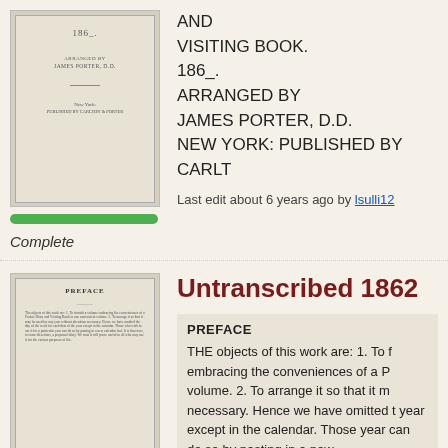[Figure (photo): Thumbnail image of a book page showing '186_.' at top, 'ARRANGED BY JAMES PORTER, D.D.' and 'New York: Published by Carlton & Porter']
[Figure (infographic): Green progress bar indicating completion status]
Complete
AND
VISITING BOOK.
186_.
ARRANGED BY
JAMES PORTER, D.D.
NEW YORK: PUBLISHED BY CARLT
Last edit about 6 years ago by lsulli12
[Figure (photo): Thumbnail image of a book page showing the Preface with dense text]
Untranscribed 1862
PREFACE
THE objects of this work are: 1. To f embracing the conveniences of a P volume. 2. To arrange it so that it m necessary. Hence we have omitted t year except in the calendar. Those year can do so by pasting in a new